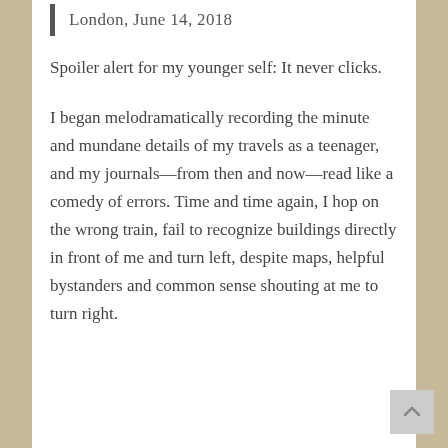London, June 14, 2018
Spoiler alert for my younger self: It never clicks.
I began melodramatically recording the minute and mundane details of my travels as a teenager, and my journals—from then and now—read like a comedy of errors. Time and time again, I hop on the wrong train, fail to recognize buildings directly in front of me and turn left, despite maps, helpful bystanders and common sense shouting at me to turn right.